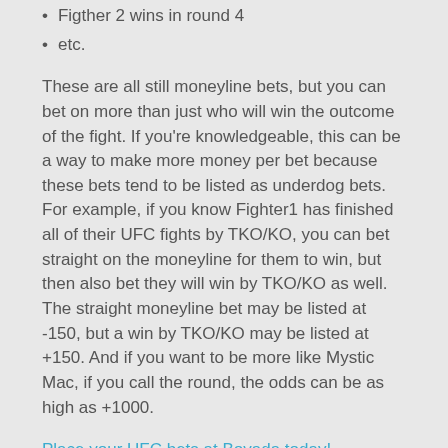Figther 2 wins in round 4
etc.
These are all still moneyline bets, but you can bet on more than just who will win the outcome of the fight. If you're knowledgeable, this can be a way to make more money per bet because these bets tend to be listed as underdog bets. For example, if you know Fighter1 has finished all of their UFC fights by TKO/KO, you can bet straight on the moneyline for them to win, but then also bet they will win by TKO/KO as well. The straight moneyline bet may be listed at -150, but a win by TKO/KO may be listed at +150. And if you want to be more like Mystic Mac, if you call the round, the odds can be as high as +1000.
Place your UFC bets at Bovada today!